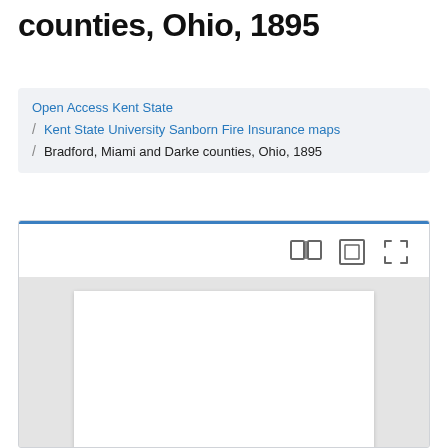counties, Ohio, 1895
Open Access Kent State / Kent State University Sanborn Fire Insurance maps / Bradford, Miami and Darke counties, Ohio, 1895
[Figure (screenshot): Document viewer interface with toolbar showing book/page view icons, crop icon, and fullscreen icon. Below is a gray canvas area with a white page placeholder.]